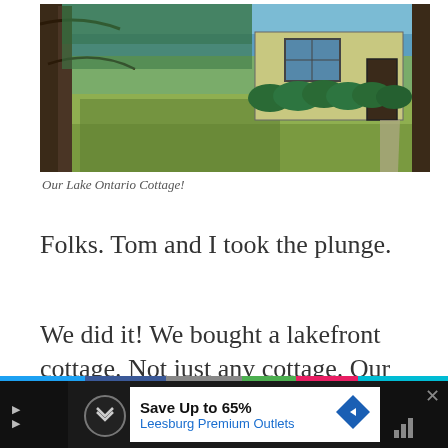[Figure (photo): Exterior photo of a lakefront cottage with yellow siding and dark-framed windows. Large trees frame the scene, with Lake Ontario visible in the background, green shrubs flanking the building, and a grassy yard in the foreground.]
Our Lake Ontario Cottage!
Folks. Tom and I took the plunge.
We did it! We bought a lakefront cottage. Not just any cottage. Our dream lakefront
[Figure (other): Advertisement banner: Save Up to 65% Leesburg Premium Outlets]